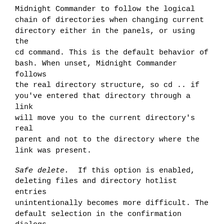Midnight Commander to follow the logical chain of directories when changing current directory either in the panels, or using the cd command. This is the default behavior of bash. When unset, Midnight Commander follows the real directory structure, so cd .. if you've entered that directory through a link will move you to the current directory's real parent and not to the directory where the link was present.
Safe delete. If this option is enabled, deleting files and directory hotlist entries unintentionally becomes more difficult. The default selection in the confirmation dialogs for deletion changes from Yes to No. This option is disabled by default.
Safe overwrite. If this option is enabled, overwriting files unintentionally becomes more difficult. The default selection in the overwrite confirmation dialog changes from Yes to No. This option is disabled by